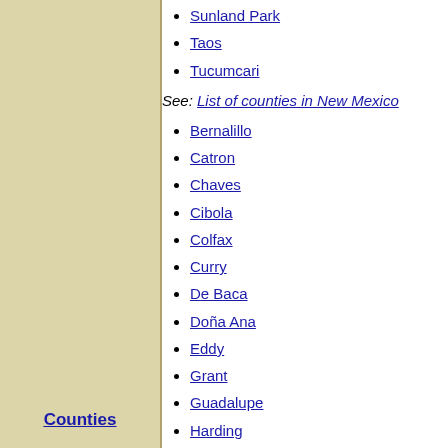Sunland Park
Taos
Tucumcari
See: List of counties in New Mexico
Bernalillo
Catron
Chaves
Cibola
Colfax
Curry
De Baca
Doña Ana
Eddy
Grant
Guadalupe
Harding
Hidalgo
Lea
Lincoln
Los Alamos
Luna
McKinley
Mora
Counties